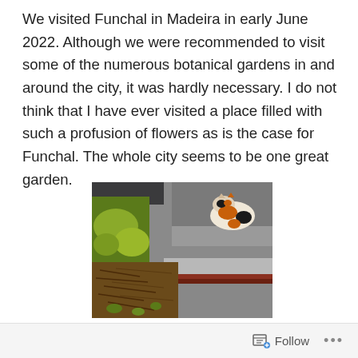We visited Funchal in Madeira in early June 2022. Although we were recommended to visit some of the numerous botanical gardens in and around the city, it was hardly necessary. I do not think that I have ever visited a place filled with such a profusion of flowers as is the case for Funchal. The whole city seems to be one great garden.
[Figure (photo): Outdoor garden photo showing a calico cat resting on a stone ledge in the upper right, with green leafy plants on the left side and dried brown garden debris and small plants in the foreground. The background shows grey stone steps or pavement.]
Follow ...